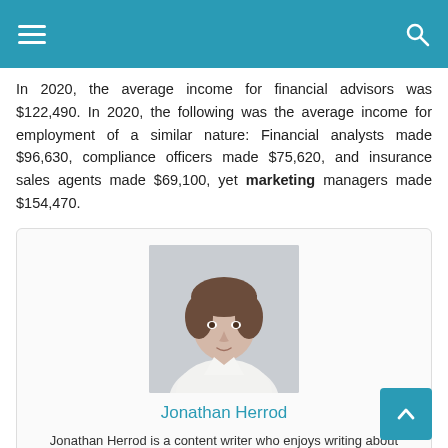Navigation header with menu and search icons
In 2020, the average income for financial advisors was $122,490. In 2020, the following was the average income for employment of a similar nature: Financial analysts made $96,630, compliance officers made $75,620, and insurance sales agents made $69,100, yet marketing managers made $154,470.
[Figure (photo): Headshot photo of a young man with brown hair wearing a white shirt, against a light grey background.]
Jonathan Herrod
Jonathan Herrod is a content writer who enjoys writing about technology, video games, and other topics. The author of informative articles that are well-researched and